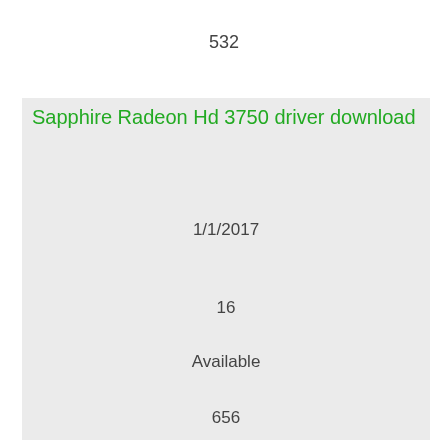532
Sapphire Radeon Hd 3750 driver download
1/1/2017
16
Available
656